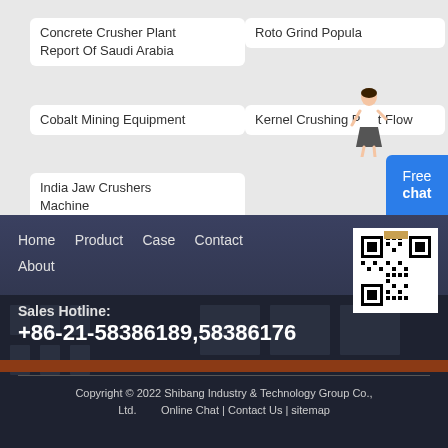Concrete Crusher Plant Report Of Saudi Arabia
Roto Grind Popula
Cobalt Mining Equipment
Kernel Crushing Plant Flow
India Jaw Crushers Machine
[Figure (illustration): Blue chat button with text 'Free chat' and mascot figure]
[Figure (photo): Dark industrial building footer background with navigation links, QR code, sales hotline, and copyright]
Home   Product   Case   Contact   About
[Figure (other): QR code for Shibang Industry & Technology Group]
Sales Hotline:
+86-21-58386189,58386176
Copyright © 2022 Shibang Industry & Technology Group Co., Ltd.   Online Chat | Contact Us | sitemap